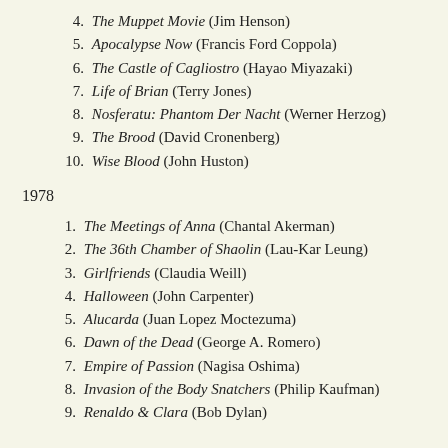4. The Muppet Movie (Jim Henson)
5. Apocalypse Now (Francis Ford Coppola)
6. The Castle of Cagliostro (Hayao Miyazaki)
7. Life of Brian (Terry Jones)
8. Nosferatu: Phantom Der Nacht (Werner Herzog)
9. The Brood (David Cronenberg)
10. Wise Blood (John Huston)
1978
1. The Meetings of Anna (Chantal Akerman)
2. The 36th Chamber of Shaolin (Lau-Kar Leung)
3. Girlfriends (Claudia Weill)
4. Halloween (John Carpenter)
5. Alucarda (Juan Lopez Moctezuma)
6. Dawn of the Dead (George A. Romero)
7. Empire of Passion (Nagisa Oshima)
8. Invasion of the Body Snatchers (Philip Kaufman)
9. Renaldo & Clara (Bob Dylan)